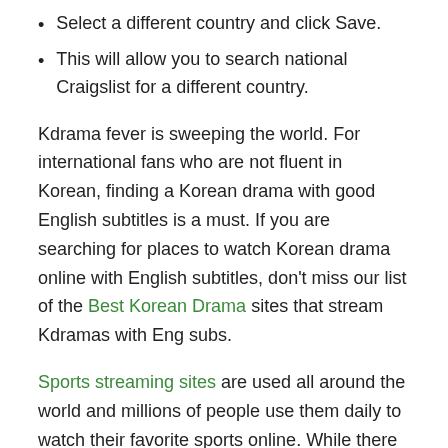Select a different country and click Save.
This will allow you to search national Craigslist for a different country.
Kdrama fever is sweeping the world. For international fans who are not fluent in Korean, finding a Korean drama with good English subtitles is a must. If you are searching for places to watch Korean drama online with English subtitles, don't miss our list of the Best Korean Drama sites that stream Kdramas with Eng subs.
Sports streaming sites are used all around the world and millions of people use them daily to watch their favorite sports online. While there are some premium streaming services available, that costs real money, some free sites are available too.